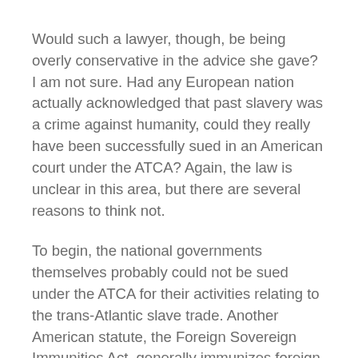Would such a lawyer, though, be being overly conservative in the advice she gave? I am not sure. Had any European nation actually acknowledged that past slavery was a crime against humanity, could they really have been successfully sued in an American court under the ATCA? Again, the law is unclear in this area, but there are several reasons to think not.
To begin, the national governments themselves probably could not be sued under the ATCA for their activities relating to the trans-Atlantic slave trade. Another American statute, the Foreign Sovereign Immunities Act, generally immunizes foreign government from U.S. tort liability — with only limited exceptions, none of which seems applicable here.
What about an ATCA suit in which the defendants themselves are not the governments themselves, but their